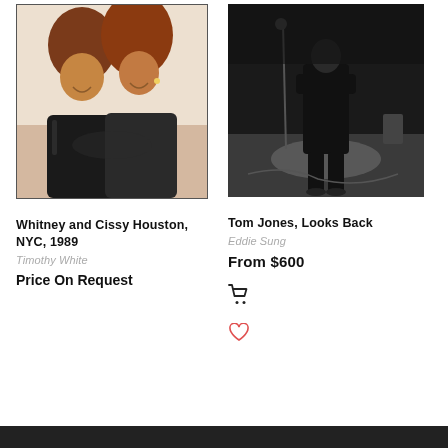[Figure (photo): Two women smiling and posing together, one wearing a leather jacket, the other in a glittery outfit. Whitney Houston and Cissy Houston, NYC, 1989.]
Whitney and Cissy Houston, NYC, 1989
Timothy White
Price On Request
[Figure (photo): Black and white photo of a man on a stage, viewed from behind, with stage equipment visible. Tom Jones, Looks Back.]
Tom Jones, Looks Back
Eddie Sung
From $600